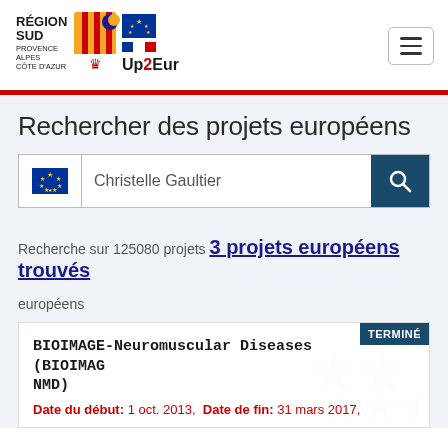[Figure (logo): Région Sud Provence-Alpes-Côte d'Azur logo with colored stripe and crown emblem, next to EU stars flag and Up2Europe text logo]
Rechercher des projets européens
Christelle Gaultier
Recherche sur 125080 projets 3 projets européens trouvés européens
BIOIMAGE-Neuromuscular Diseases (BIOIMAG NMD) Date du début: 1 oct. 2013, Date de fin: 31 mars 2017, TERMINÉ